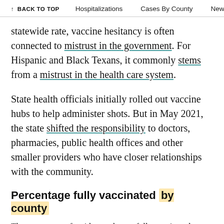↑ BACK TO TOP    Hospitalizations    Cases By County    New C
statewide rate, vaccine hesitancy is often connected to mistrust in the government. For Hispanic and Black Texans, it commonly stems from a mistrust in the health care system.
State health officials initially rolled out vaccine hubs to help administer shots. But in May 2021, the state shifted the responsibility to doctors, pharmacies, public health offices and other smaller providers who have closer relationships with the community.
Percentage fully vaccinated by county
The percentage of residents who are fully vaccinated shows